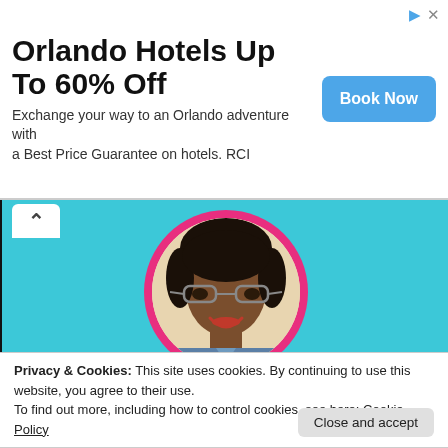[Figure (infographic): Advertisement banner: 'Orlando Hotels Up To 60% Off' with subtitle 'Exchange your way to an Orlando adventure with a Best Price Guarantee on hotels. RCI' and a blue 'Book Now' button on the right.]
[Figure (photo): Profile photo of a smiling woman with glasses wearing a denim shirt, shown in a circular frame with a hot-pink border on a cyan/teal background. A chevron-up icon is visible at top-left.]
Privacy & Cookies: This site uses cookies. By continuing to use this website, you agree to their use.
To find out more, including how to control cookies, see here: Cookie Policy
Close and accept
news, exclusive interviews, my personal connections to characters